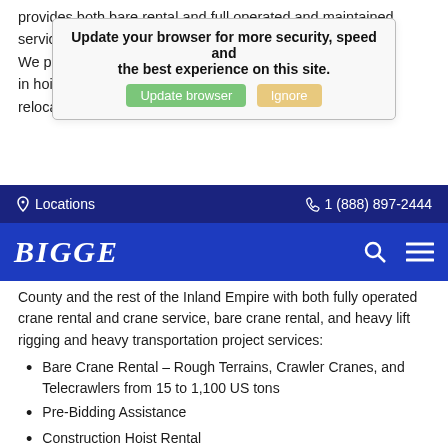provides both bare rental and full operated and maintained service, including indoor/outdoor storage and field service. We provide lift solutions for any application and specialize in hoisting HVAC equipment, machinery moving, plant relocation, precast building panels, and more. From all-
[Figure (screenshot): Browser update notification banner with 'Update browser' green button and 'Ignore' yellow button, overlaid on page text]
Locations   1 (888) 897-2444
[Figure (logo): Bigge crane company logo in white italic bold text on blue background, with search and menu icons]
County and the rest of the Inland Empire with both fully operated crane rental and crane service, bare crane rental, and heavy lift rigging and heavy transportation project services:
Bare Crane Rental – Rough Terrains, Crawler Cranes, and Telecrawlers from 15 to 1,100 US tons
Pre-Bidding Assistance
Construction Hoist Rental
Mega Projects
Crane Sales
Parts Sales